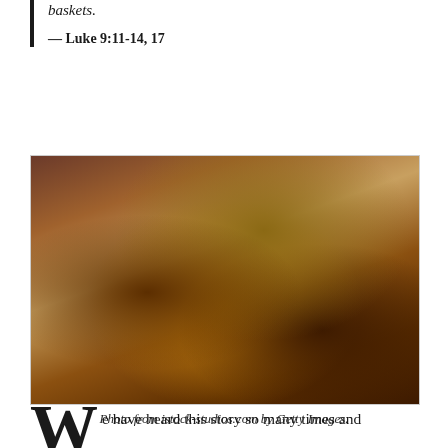baskets.
— Luke 9:11-14, 17
[Figure (photo): Still life photograph showing a wicker basket filled with rustic bread rolls, an earthen clay pitcher/jug, two whole fish, small round bread rolls, and lit candles arranged on a wooden surface. Warm brown and amber tones. Photo from istock-studios.com by Getty Images.]
Photo from istock-studios.com by Getty Images.
e have heard this story so many times and